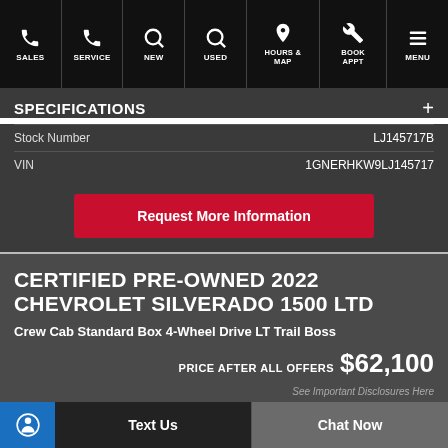SALES | SERVICE | NEW | USED | HOURS & MAP | BOOK APPT | MENU
SPECIFICATIONS
| Field | Value |
| --- | --- |
| Stock Number | LJ145717B |
| VIN | 1GNERHKW9LJ145717 |
Request More Information
CERTIFIED PRE-OWNED 2022 CHEVROLET SILVERADO 1500 LTD
Crew Cab Standard Box 4-Wheel Drive LT Trail Boss
PRICE AFTER ALL OFFERS $62,100
See Important Disclosures Here
Text Us | Chat Now